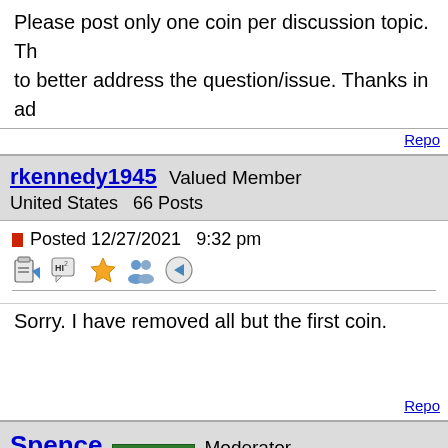Please post only one coin per discussion topic. Th to better address the question/issue. Thanks in ad
Repo
rkennedy1945  Valued Member
United States  66 Posts
Posted 12/27/2021  9:32 pm
Sorry. I have removed all but the first coin.
Repo
Spence  BSS SUPPORTER  Moderator
United States  34453 Posts